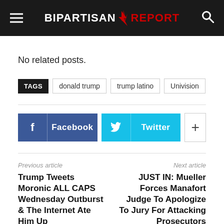BIPARTISAN REPORT
No related posts.
TAGS  donald trump  trump latino  Univision
[Figure (other): Social share buttons: Facebook, Twitter, and a plus/more button]
Previous article
Trump Tweets Moronic ALL CAPS Wednesday Outburst & The Internet Ate Him Up
Next article
JUST IN: Mueller Forces Manafort Judge To Apologize To Jury For Attacking Prosecutors